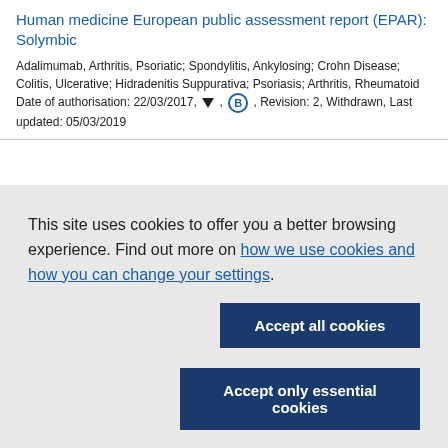Human medicine European public assessment report (EPAR): Solymbic
Adalimumab, Arthritis, Psoriatic; Spondylitis, Ankylosing; Crohn Disease; Colitis, Ulcerative; Hidradenitis Suppurativa; Psoriasis; Arthritis, Rheumatoid
Date of authorisation: 22/03/2017, [triangle], [B], Revision: 2, Withdrawn, Last updated: 05/03/2019
This site uses cookies to offer you a better browsing experience. Find out more on how we use cookies and how you can change your settings.
Accept all cookies
Accept only essential cookies